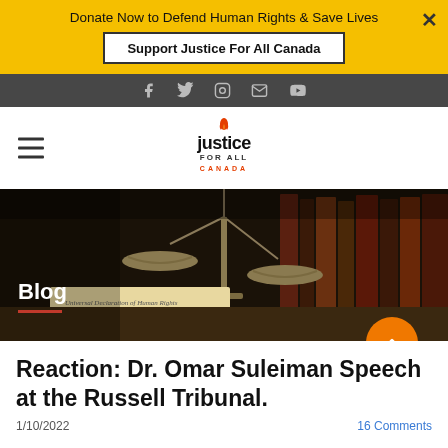Donate Now to Defend Human Rights & Save Lives
Support Justice For All Canada
[Figure (screenshot): Social media icon bar with Facebook, Twitter, Instagram, Email, YouTube icons on dark background]
[Figure (logo): Justice For All Canada logo with flame icon]
[Figure (photo): Hero image showing scales of justice and Universal Declaration of Human Rights document against dark background with law books. Blog label overlay.]
Reaction: Dr. Omar Suleiman Speech at the Russell Tribunal.
1/10/2022